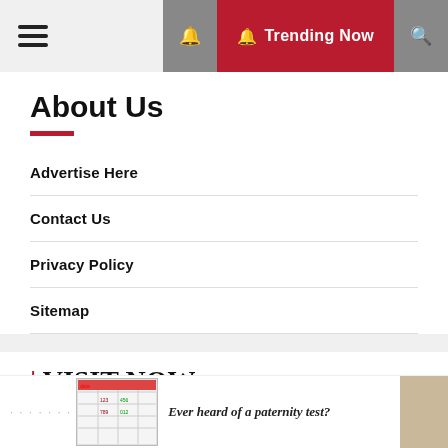≡  🔔 Trending Now 🔍
About Us
Advertise Here
Contact Us
Privacy Policy
Sitemap
| VISIT NOW
Ever heard of a paternity test?